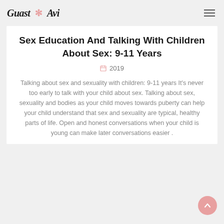Guast Avi
Sex Education And Talking With Children About Sex: 9-11 Years
2019
Talking about sex and sexuality with children: 9-11 years It's never too early to talk with your child about sex. Talking about sex, sexuality and bodies as your child moves towards puberty can help your child understand that sex and sexuality are typical, healthy parts of life. Open and honest conversations when your child is young can make later conversations easier .